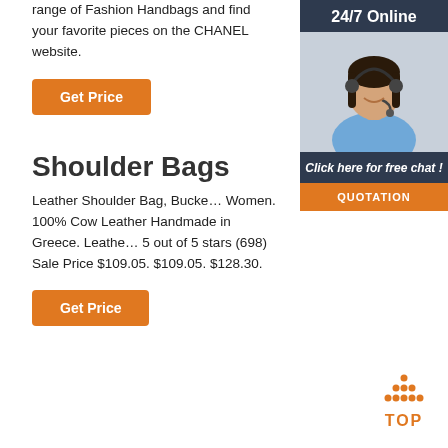range of Fashion Handbags and find your favorite pieces on the CHANEL website.
Get Price
[Figure (photo): 24/7 Online support widget showing a smiling woman with a headset, with 'Click here for free chat!' text and a QUOTATION button]
Shoulder Bags
Leather Shoulder Bag, Bucke... Women. 100% Cow Leather Handmade in Greece. Leathe... 5 out of 5 stars (698) Sale Price $109.05. $109.05. $128.30.
Get Price
[Figure (other): Orange dotted triangle 'TOP' back-to-top button icon]